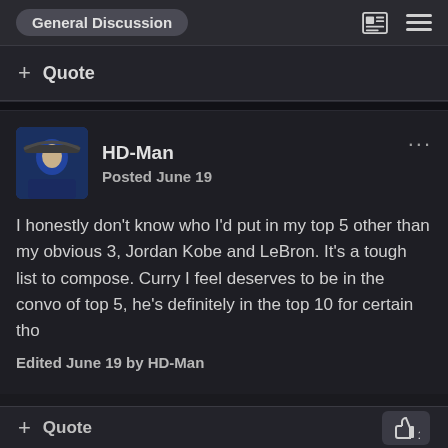General Discussion
+ Quote
HD-Man
Posted June 19
I honestly don't know who I'd put in my top 5 other than my obvious 3, Jordan Kobe and LeBron. It's a tough list to compose. Curry I feel deserves to be in the convo of top 5, he's definitely in the top 10 for certain tho
Edited June 19 by HD-Man
+ Quote